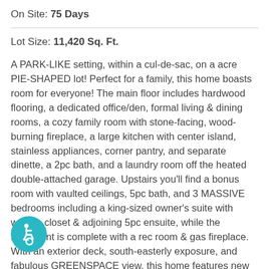On Site: 75 Days
Lot Size: 11,420 Sq. Ft.
A PARK-LIKE setting, within a cul-de-sac, on a acre PIE-SHAPED lot! Perfect for a family, this home boasts room for everyone! The main floor includes hardwood flooring, a dedicated office/den, formal living & dining rooms, a cozy family room with stone-facing, wood-burning fireplace, a large kitchen with center island, stainless appliances, corner pantry, and separate dinette, a 2pc bath, and a laundry room off the heated double-attached garage. Upstairs you'll find a bonus room with vaulted ceilings, 5pc bath, and 3 MASSIVE bedrooms including a king-sized owner's suite with walk-in closet & adjoining 5pc ensuite, while the basement is complete with a rec room & gas fireplace. With an exterior deck, south-easterly exposure, and fabulous GREENSPACE view, this home features new shingles (2021), A/C, and is walking distance to schools, playgrounds, trails, restaurants & shopping, with quick & easy access to commuter highways.
[Figure (illustration): Accessibility icon — white wheelchair figure on teal circular background]